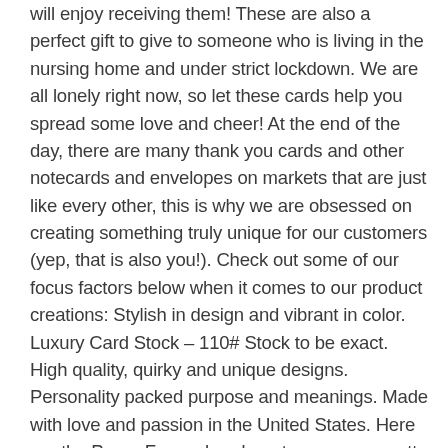will enjoy receiving them! These are also a perfect gift to give to someone who is living in the nursing home and under strict lockdown. We are all lonely right now, so let these cards help you spread some love and cheer! At the end of the day, there are many thank you cards and other notecards and envelopes on markets that are just like every other, this is why we are obsessed on creating something truly unique for our customers (yep, that is also you!). Check out some of our focus factors below when it comes to our product creations: Stylish in design and vibrant in color. Luxury Card Stock – 110# Stock to be exact. High quality, quirky and unique designs. Personality packed purpose and meanings. Made with love and passion in the United States. Here are the Paper Frenzy headquarters, we are pretty addicted to providing top notch customer service, with a whacky yet wonderful twist! Allow us to walk the talk here a little, we offer a range of generous discounts for our products year round, that most of our competition would find difficult to match. Start your day off the right way and click "Add To Cart" on this page to enjoy your first pack of our fun and fresh note cards now!